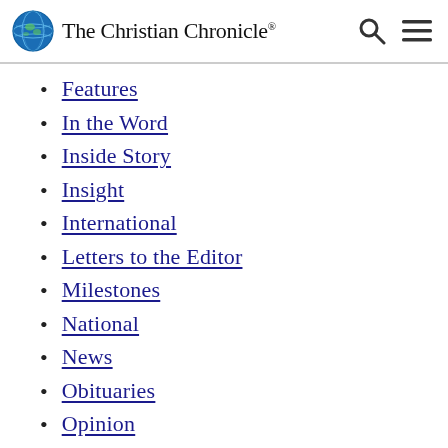The Christian Chronicle
Features
In the Word
Inside Story
Insight
International
Letters to the Editor
Milestones
National
News
Obituaries
Opinion
Partners
People
Perspective
Reviews